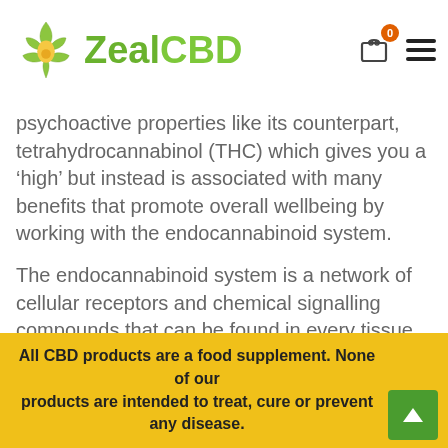ZealCBD
psychoactive properties like its counterpart, tetrahydrocannabinol (THC) which gives you a ‘high’ but instead is associated with many benefits that promote overall wellbeing by working with the endocannabinoid system.
The endocannabinoid system is a network of cellular receptors and chemical signalling compounds that can be found in every tissue of the body. The endocannabinoid system is directly connected to cannabinoids such as cannabidiol (CBD). The compounds found in
All CBD products are a food supplement. None of our products are intended to treat, cure or prevent any disease.